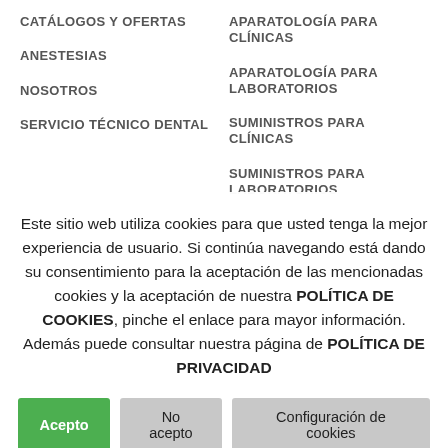CATÁLOGOS Y OFERTAS
ANESTESIAS
NOSOTROS
SERVICIO TÉCNICO DENTAL
APARATOLOGÍA PARA CLÍNICAS
APARATOLOGÍA PARA LABORATORIOS
SUMINISTROS PARA CLÍNICAS
SUMINISTROS PARA LABORATORIOS
Este sitio web utiliza cookies para que usted tenga la mejor experiencia de usuario. Si continúa navegando está dando su consentimiento para la aceptación de las mencionadas cookies y la aceptación de nuestra POLÍTICA DE COOKIES, pinche el enlace para mayor información. Además puede consultar nuestra página de POLÍTICA DE PRIVACIDAD